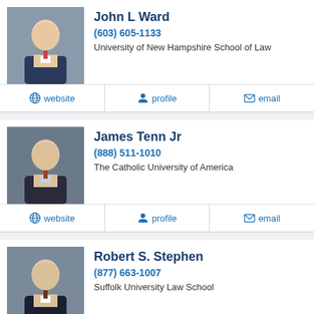[Figure (photo): Headshot photo of John L Ward, man in suit]
John L Ward
(603) 605-1133
University of New Hampshire School of Law
website  profile  email
[Figure (photo): Headshot photo of James Tenn Jr, man in suit]
James Tenn Jr
(888) 511-1010
The Catholic University of America
website  profile  email
[Figure (photo): Headshot photo of Robert S. Stephen, man in suit]
Robert S. Stephen
(877) 663-1007
Suffolk University Law School